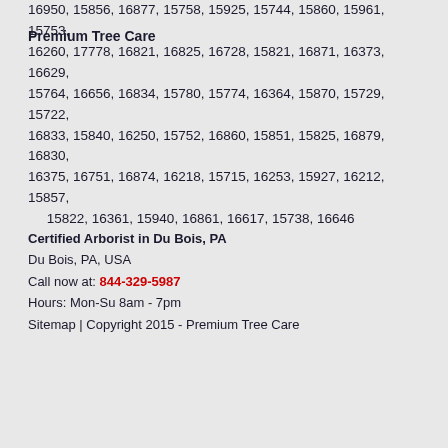Premium Tree Care
16950, 15856, 16877, 15758, 15925, 15744, 15860, 15961, 15753, 16260, 17778, 16821, 16825, 16728, 15821, 16871, 16373, 16629, 15764, 16656, 16834, 15780, 15774, 16364, 15870, 15729, 15722, 16833, 15840, 16250, 15752, 16860, 15851, 15825, 16879, 16830, 16375, 16751, 16874, 16218, 15715, 16253, 15927, 16212, 15857, 15822, 16361, 15940, 16861, 16617, 15738, 16646
Certified Arborist in Du Bois, PA
Du Bois, PA, USA
Call now at: 844-329-5987
Hours: Mon-Su 8am - 7pm
Sitemap | Copyright 2015 - Premium Tree Care